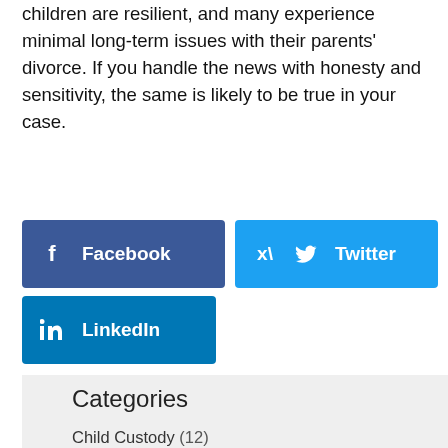children are resilient, and many experience minimal long-term issues with their parents' divorce. If you handle the news with honesty and sensitivity, the same is likely to be true in your case.
[Figure (other): Social sharing buttons for Facebook, Twitter, and LinkedIn]
Categories
Child Custody (12)
Firm News (28)
Uncategorized (18)